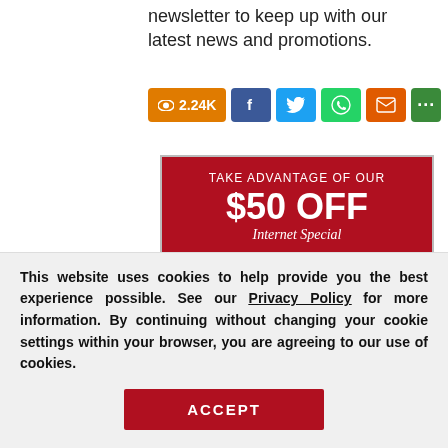newsletter to keep up with our latest news and promotions.
[Figure (screenshot): Social share bar showing 2.24K views, Facebook, Twitter, WhatsApp, email, and more buttons]
[Figure (infographic): Advertisement banner: TAKE ADVANTAGE OF OUR $50 OFF Internet Special, with tile flooring image and Request a Free [estimate] button]
This website uses cookies to help provide you the best experience possible. See our Privacy Policy for more information. By continuing without changing your cookie settings within your browser, you are agreeing to our use of cookies.